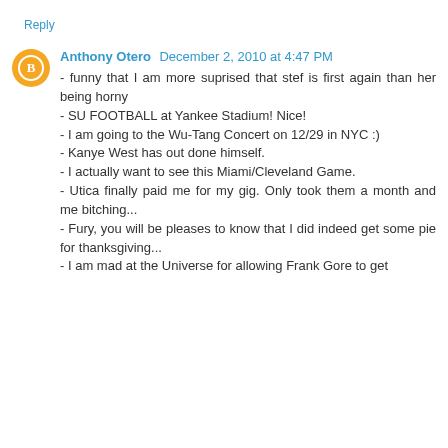Reply
Anthony Otero  December 2, 2010 at 4:47 PM
- funny that I am more suprised that stef is first again than her being horny
- SU FOOTBALL at Yankee Stadium! Nice!
- I am going to the Wu-Tang Concert on 12/29 in NYC :)
- Kanye West has out done himself.
- I actually want to see this Miami/Cleveland Game.
- Utica finally paid me for my gig. Only took them a month and me bitching...
- Fury, you will be pleases to know that I did indeed get some pie for thanksgiving...
- I am mad at the Universe for allowing Frank Gore to get